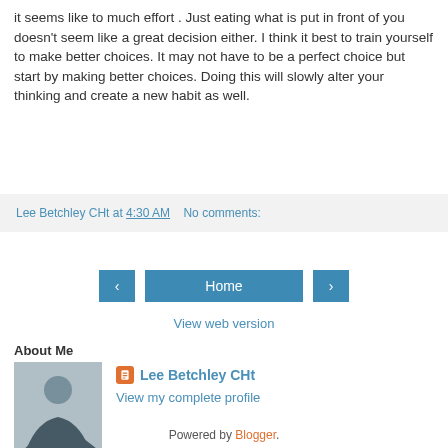it seems like to much effort . Just eating what is put in front of you doesn't seem like a great decision either. I think it best to train yourself to make better choices. It may not have to be a perfect choice but start by making better choices. Doing this will slowly alter your thinking and create a new habit as well.
Lee Betchley CHt at 4:30 AM   No comments:
Home
View web version
About Me
[Figure (photo): Profile photo of a woman posing athletically in a dark outfit against a light background]
Lee Betchley CHt
View my complete profile
Powered by Blogger.